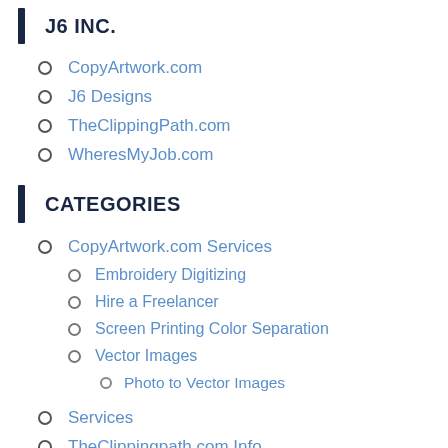J6 INC.
CopyArtwork.com
J6 Designs
TheClippingPath.com
WheresMyJob.com
CATEGORIES
CopyArtwork.com Services
Embroidery Digitizing
Hire a Freelancer
Screen Printing Color Separation
Vector Images
Photo to Vector Images
Services
TheClippingpath.com Info